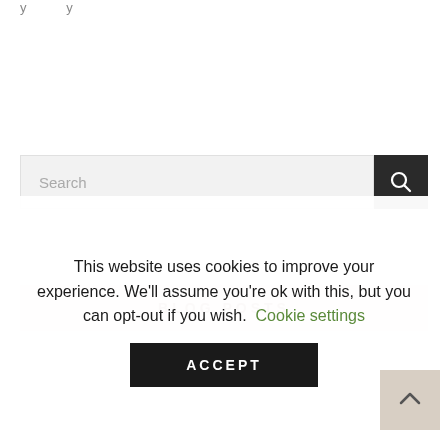y … y
Search
BLOG POSTS
This website uses cookies to improve your experience. We'll assume you're ok with this, but you can opt-out if you wish. Cookie settings
ACCEPT